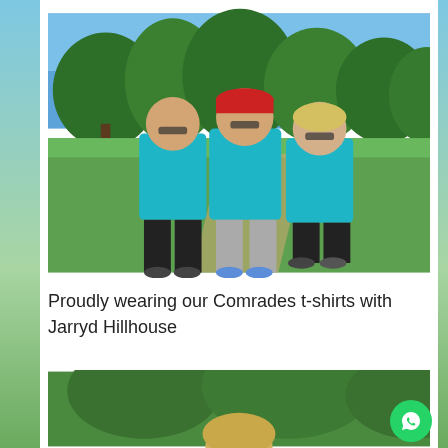[Figure (photo): Three people standing together outdoors in a park on a sunny day, all wearing matching teal/cyan Comrades running t-shirts. The person on the left is a woman with short grey hair and sunglasses wearing black trousers. In the middle is a taller man wearing a red cap, sunglasses and grey shorts. On the right is a woman with blonde hair and sunglasses wearing black shorts. Green trees and grass are visible in the background.]
Proudly wearing our Comrades t-shirts with Jarryd Hillhouse
[Figure (photo): Partial photo showing a person outdoors, with green trees visible in background. Only the top of the person's head with blonde hair is visible as the image is cut off.]